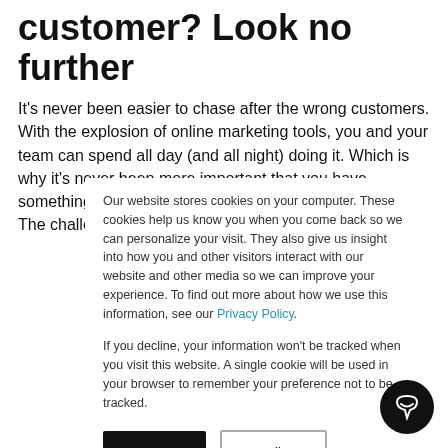customer? Look no further
It's never been easier to chase after the wrong customers. With the explosion of online marketing tools, you and your team can spend all day (and all night) doing it. Which is why it's never been more important that you have something—or more specifically, someone—to guide you. The challenge for today's
Our website stores cookies on your computer. These cookies help us know you when you come back so we can personalize your visit. They also give us insight into how you and other visitors interact with our website and other media so we can improve your experience. To find out more about how we use this information, see our Privacy Policy.
If you decline, your information won't be tracked when you visit this website. A single cookie will be used in your browser to remember your preference not to be tracked.